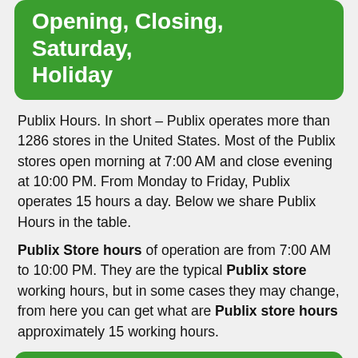Opening, Closing, Saturday, Holiday
Publix Hours. In short – Publix operates more than 1286 stores in the United States. Most of the Publix stores open morning at 7:00 AM and close evening at 10:00 PM. From Monday to Friday, Publix operates 15 hours a day. Below we share Publix Hours in the table.
Publix Store hours of operation are from 7:00 AM to 10:00 PM. They are the typical Publix store working hours, but in some cases they may change, from here you can get what are Publix store hours approximately 15 working hours.
People Also Ask what is publix store hours